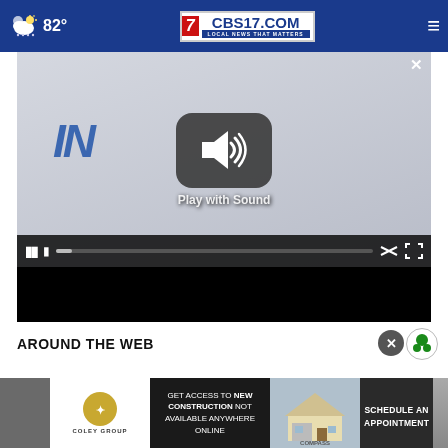82° CBS17.COM LOCAL NEWS THAT MATTERS
[Figure (screenshot): Video player with 'Play with Sound' prompt, showing a speaker icon with sound waves in a dark rounded rectangle. Video controls bar with pause button and progress bar. Black bars above and below.]
AROUND THE WEB
[Figure (screenshot): Advertisement banner for Coley Group / Compass: GET ACCESS TO NEW CONSTRUCTION NOT AVAILABLE ANYWHERE ONLINE — SCHEDULE AN APPOINTMENT]